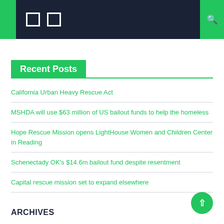Navigation bar with icons and search
Recent Posts
California Urban Heavy Rescue Act
MSHDA will use $63 million of US bailout funds to help the homeless
Hope Rescue Mission opens LightHouse Women and Children Center in Reading
Schenectady OK's $14.6m bailout fund despite resentment
Capital rescue mission set to expand elsewhere
ARCHIVES